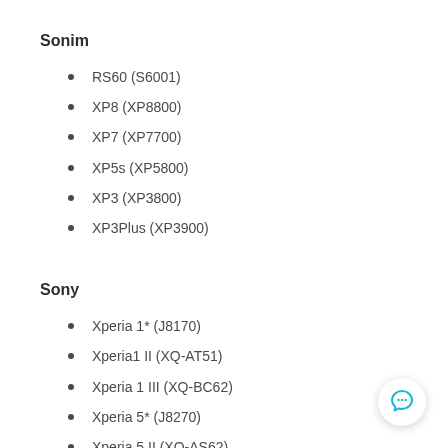Sonim
RS60 (S6001)
XP8 (XP8800)
XP7 (XP7700)
XP5s (XP5800)
XP3 (XP3800)
XP3Plus (XP3900)
Sony
Xperia 1* (J8170)
Xperia1 II (XQ-AT51)
Xperia 1 III (XQ-BC62)
Xperia 5* (J8270)
Xperia 5 II (XQ-AS62)